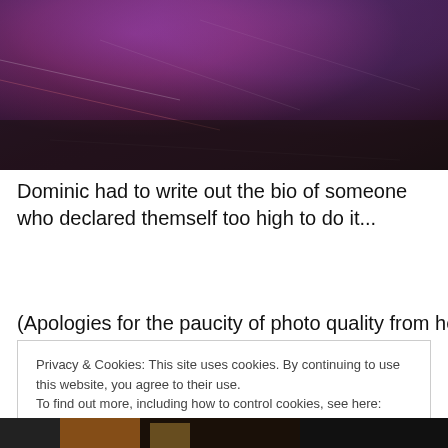[Figure (photo): Photo of a surface with purple and red/pink lighting, dark textured material, resembling a floor or wall under colored stage lights]
Dominic had to write out the bio of someone who declared themself too high to do it...
(Apologies for the paucity of photo quality from here on out
Privacy & Cookies: This site uses cookies. By continuing to use this website, you agree to their use.
To find out more, including how to control cookies, see here: Cookie Policy
Close and accept
[Figure (photo): Bottom portion of another photo, partially visible, showing people in a dark setting with warm lighting]